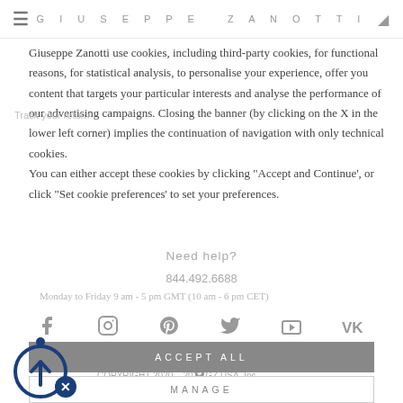GIUSEPPE ZANOTTI
Track your return
Giuseppe Zanotti use cookies, including third-party cookies, for functional reasons, for statistical analysis, to personalise your experience, offer you content that targets your particular interests and analyse the performance of our advertising campaigns. Closing the banner (by clicking on the X in the lower left corner) implies the continuation of navigation with only technical cookies.
Need help?
844.492.6688
Monday to Friday 9 am - 5 pm GMT (10 am - 6 pm CET)
You can either accept these cookies by clicking "Accept and Continue', or click "Set cookie preferences' to set your preferences.
[Figure (logo): Social media icons row: Facebook, Instagram, Pinterest, Twitter, YouTube, VK]
ACCEPT ALL
MANAGE
[Figure (logo): TrustArc logo with accessibility icon]
COPYRIGHT 2020 – 2022 GZ USA, Inc. For more information on our cookie policy, please